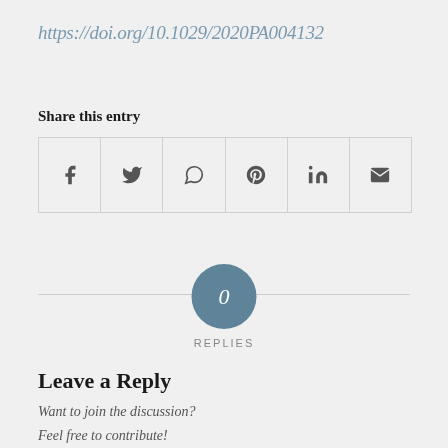https://doi.org/10.1029/2020PA004132
Share this entry
[Figure (other): Social share buttons row: Facebook, Twitter, WhatsApp, Pinterest, LinkedIn, Email icons in bordered cells]
[Figure (infographic): Circle badge with '0' indicating zero replies]
REPLIES
Leave a Reply
Want to join the discussion?
Feel free to contribute!